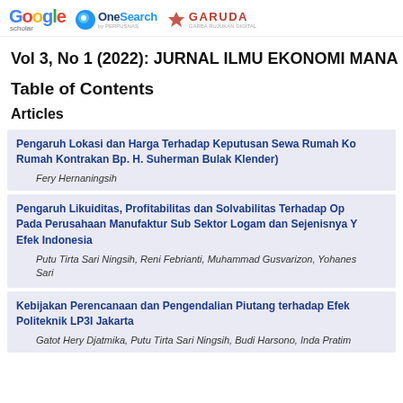Google Scholar | OneSearch | GARUDA
Vol 3, No 1 (2022): JURNAL ILMU EKONOMI MANA
Table of Contents
Articles
Pengaruh Lokasi dan Harga Terhadap Keputusan Sewa Rumah Ko Rumah Kontrakan Bp. H. Suherman Bulak Klender)
Fery Hernaningsih
Pengaruh Likuiditas, Profitabilitas dan Solvabilitas Terhadap Op Pada Perusahaan Manufaktur Sub Sektor Logam dan Sejenisnya Efek Indonesia
Putu Tirta Sari Ningsih, Reni Febrianti, Muhammad Gusvarizon, Yohanes Sari
Kebijakan Perencanaan dan Pengendalian Piutang terhadap Efek Politeknik LP3I Jakarta
Gatot Hery Djatmika, Putu Tirta Sari Ningsih, Budi Harsono, Inda Pratim